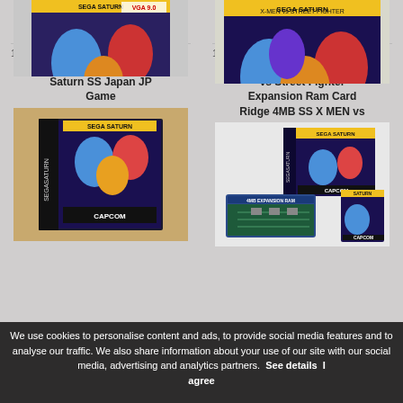C $311.22
Buy It Now
C $342.63
Buy It Now
13.
14.
X-Men vs Street Fighter Saturn SS Japan JP Game
SEGA SATURN X Men vs Street Fighter Expansion Ram Card Ridge 4MB SS X MEN vs
[Figure (photo): Photo of X-Men vs Street Fighter Sega Saturn game (left column top, item 11 or 12)]
[Figure (photo): Photo of X-Men vs Street Fighter Sega Saturn game box (right column top, item 11 or 12)]
[Figure (photo): Photo of X-Men vs Street Fighter Saturn SS Japan JP Game disc case (item 13)]
[Figure (photo): Photo of SEGA SATURN X Men vs Street Fighter Expansion Ram Card (item 14)]
We use cookies to personalise content and ads, to provide social media features and to analyse our traffic. We also share information about your use of our site with our social media, advertising and analytics partners.
See details
I agree